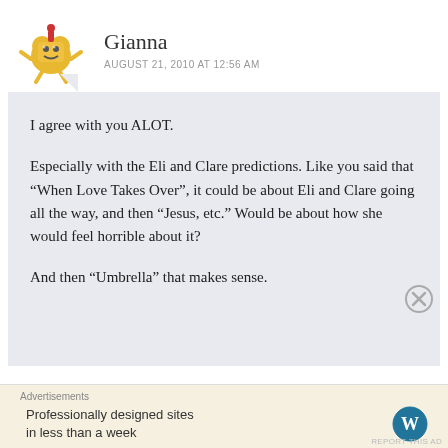Gianna
AUGUST 21, 2010 AT 12:56 AM
I agree with you ALOT.

Especially with the Eli and Clare predictions. Like you said that “When Love Takes Over”, it could be about Eli and Clare going all the way, and then “Jesus, etc.” Would be about how she would feel horrible about it?

And then “Umbrella” that makes sense.
Advertisements
Professionally designed sites in less than a week